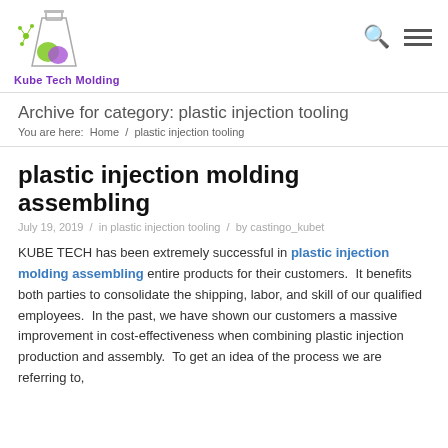[Figure (logo): Kube Tech Molding logo: a flask/beaker with green and purple liquid, with molecular network decoration, and purple bold text 'Kube Tech Molding' below]
Archive for category: plastic injection tooling
You are here:  Home  /  plastic injection tooling
plastic injection molding assembling
July 19, 2019  /  in plastic injection tooling  /  by castingo_kubet
KUBE TECH has been extremely successful in plastic injection molding assembling entire products for their customers.  It benefits both parties to consolidate the shipping, labor, and skill of our qualified employees.  In the past, we have shown our customers a massive improvement in cost-effectiveness when combining plastic injection production and assembly.  To get an idea of the process we are referring to,